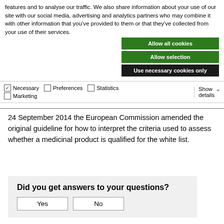features and to analyse our traffic. We also share information about your use of our site with our social media, advertising and analytics partners who may combine it with other information that you've provided to them or that they've collected from your use of their services.
[Figure (screenshot): Cookie consent buttons: Allow all cookies (green), Allow selection (green), Use necessary cookies only (dark/black)]
[Figure (screenshot): Cookie options bar with checkboxes: Necessary (checked), Preferences (unchecked), Statistics (unchecked), Marketing (unchecked), Show details dropdown]
24 September 2014 the European Commission amended the original guideline for how to interpret the criteria used to assess whether a medicinal product is qualified for the white list.
Did you get answers to your questions?
[Figure (screenshot): Feedback buttons: Yes and No]